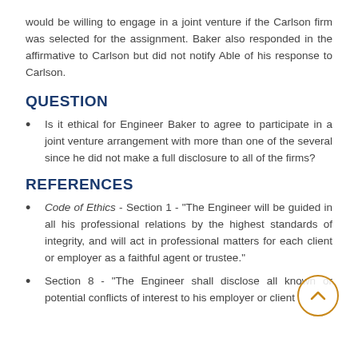would be willing to engage in a joint venture if the Carlson firm was selected for the assignment. Baker also responded in the affirmative to Carlson but did not notify Able of his response to Carlson.
QUESTION
Is it ethical for Engineer Baker to agree to participate in a joint venture arrangement with more than one of the several since he did not make a full disclosure to all of the firms?
REFERENCES
Code of Ethics - Section 1 - "The Engineer will be guided in all his professional relations by the highest standards of integrity, and will act in professional matters for each client or employer as a faithful agent or trustee."
Section 8 - "The Engineer shall disclose all known or potential conflicts of interest to his employer or client